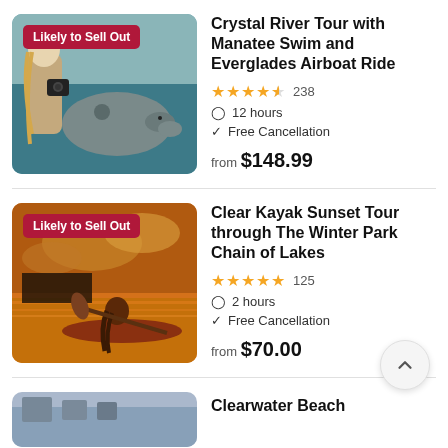[Figure (photo): Underwater photo of a person with a camera swimming next to a manatee. Badge reads 'Likely to Sell Out'.]
Crystal River Tour with Manatee Swim and Everglades Airboat Ride
★★★★½ 238
12 hours
Free Cancellation
from $148.99
[Figure (photo): Sunset kayak photo of a person paddling on a calm lake with golden sky. Badge reads 'Likely to Sell Out'.]
Clear Kayak Sunset Tour through The Winter Park Chain of Lakes
★★★★★ 125
2 hours
Free Cancellation
from $70.00
[Figure (photo): Partial bottom thumbnail of Clearwater Beach listing.]
Clearwater Beach